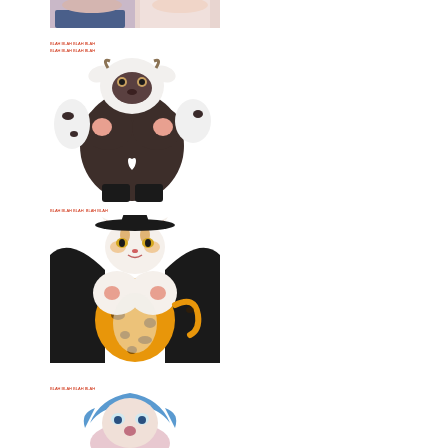[Figure (illustration): Partially cropped illustration of anime/furry style characters, only lower body visible at top of page]
[Figure (illustration): Furry/anthro style illustration of a cow or goat character with black and white coloring wearing a dark bodysuit]
[Figure (illustration): Furry/anthro style illustration of a leopard or tiger character wearing a black cape/coat with orange spotted lower body]
[Figure (illustration): Partially visible furry/anthro illustration of a character with blue hair at bottom of page]